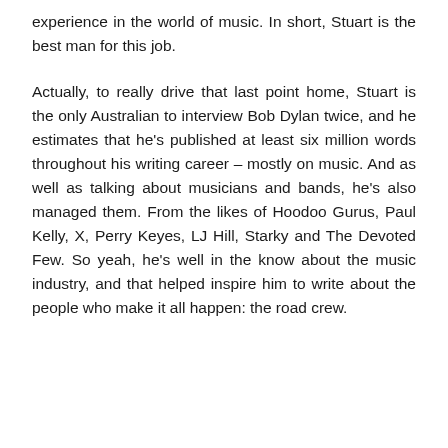experience in the world of music. In short, Stuart is the best man for this job.
Actually, to really drive that last point home, Stuart is the only Australian to interview Bob Dylan twice, and he estimates that he's published at least six million words throughout his writing career – mostly on music. And as well as talking about musicians and bands, he's also managed them. From the likes of Hoodoo Gurus, Paul Kelly, X, Perry Keyes, LJ Hill, Starky and The Devoted Few. So yeah, he's well in the know about the music industry, and that helped inspire him to write about the people who make it all happen: the road crew.